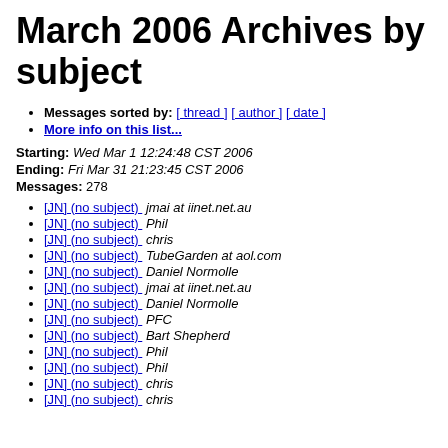March 2006 Archives by subject
Messages sorted by: [ thread ] [ author ] [ date ]
More info on this list...
Starting: Wed Mar 1 12:24:48 CST 2006
Ending: Fri Mar 31 21:23:45 CST 2006
Messages: 278
[JN] (no subject)   jmai at iinet.net.au
[JN] (no subject)   Phil
[JN] (no subject)   chris
[JN] (no subject)   TubeGarden at aol.com
[JN] (no subject)   Daniel Normolle
[JN] (no subject)   jmai at iinet.net.au
[JN] (no subject)   Daniel Normolle
[JN] (no subject)   PFC
[JN] (no subject)   Bart Shepherd
[JN] (no subject)   Phil
[JN] (no subject)   Phil
[JN] (no subject)   chris
[JN] (no subject)   chris